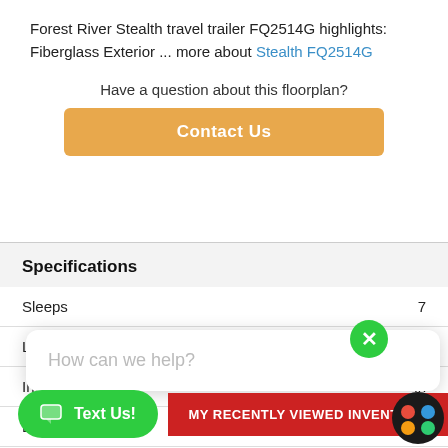Forest River Stealth travel trailer FQ2514G highlights: Fiberglass Exterior ... more about Stealth FQ2514G
Have a question about this floorplan?
Contact Us
Specifications
| Specification | Value |
| --- | --- |
| Sleeps | 7 |
| Length | 30 ft 7 in |
| Int Height | in |
| Ext Height | 12 ft 1 in |
| GVWR | 4915 lbs |
| Hitch Weight |  |
| Dry Weight | 3862 lbs |
How can we help?
Text Us!
MY RECENTLY VIEWED INVENTORY